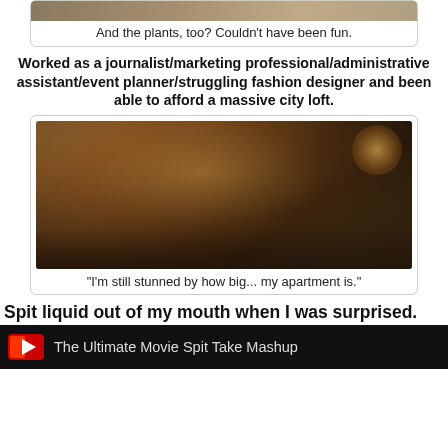[Figure (photo): Cropped top photo, partially visible]
And the plants, too? Couldn't have been fun.
Worked as a journalist/marketing professional/administrative assistant/event planner/struggling fashion designer and been able to afford a massive city loft.
[Figure (photo): Two people on a bed in a warmly lit bedroom with city view]
"I'm still stunned by how big... my apartment is."
Spit liquid out of my mouth when I was surprised.
[Figure (screenshot): YouTube video thumbnail: The Ultimate Movie Spit Take Mashup]